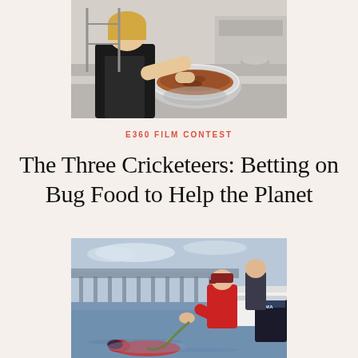[Figure (photo): A person in a kitchen working with a large metal bowl, mixing what appears to be insects or bug-based food ingredients. The kitchen has stainless steel equipment visible in the background.]
E360 FILM CONTEST
The Three Cricketeers: Betting on Bug Food to Help the Planet
[Figure (photo): People on a boat near a pier or bridge, with one person leaning over the side. A diver or person in red is visible in the shallow water below. A Yamaha outboard motor is visible on the boat.]